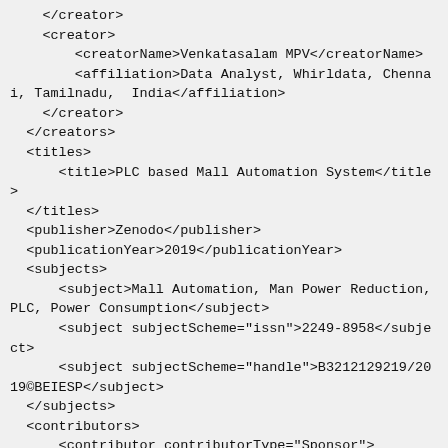</creator>
    <creator>
        <creatorName>Venkatasalam MPV</creatorName>
        <affiliation>Data Analyst, Whirldata, Chennai, Tamilnadu,  India</affiliation>
    </creator>
    </creators>
    <titles>
        <title>PLC based Mall Automation System</title>
    </titles>
    <publisher>Zenodo</publisher>
    <publicationYear>2019</publicationYear>
    <subjects>
        <subject>Mall Automation, Man Power Reduction, PLC, Power Consumption</subject>
        <subject subjectScheme="issn">2249-8958</subject>
        <subject subjectScheme="handle">B3212129219/2019©BEIESP</subject>
    </subjects>
    <contributors>
        <contributor contributorType="Sponsor">
            <contributorName>Blue Eyes Intelligence Engineering &amp; Sciences Publication (BEIESP)</cont...